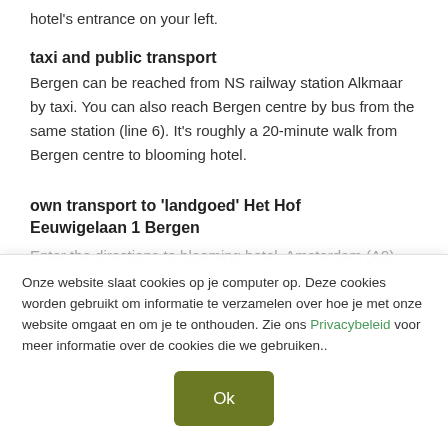hotel's entrance on your left.
taxi and public transport
Bergen can be reached from NS railway station Alkmaar by taxi. You can also reach Bergen centre by bus from the same station (line 6). It's roughly a 20-minute walk from Bergen centre to blooming hotel.
own transport to 'landgoed' Het Hof
Eeuwigelaan 1 Bergen
Onze website slaat cookies op je computer op. Deze cookies worden gebruikt om informatie te verzamelen over hoe je met onze website omgaat en om je te onthouden. Zie ons Privacybeleid voor meer informatie over de cookies die we gebruiken..
Ok